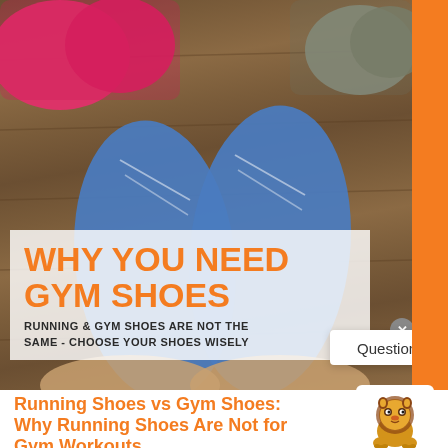[Figure (photo): Photo of multiple sneakers on a wooden floor — pink shoes top left, blue sneakers held by hands in center, gray/tan shoes top right. Text overlay reads 'WHY YOU NEED GYM SHOES' with subtitle 'RUNNING & GYM SHOES ARE NOT THE SAME - CHOOSE YOUR SHOES WISELY'. An orange sidebar strip runs on the right. A white popup with 'Questions?' text and a close button overlay the bottom right of the photo.]
Running Shoes vs Gym Shoes: Why Running Shoes Are Not for Gym Workouts